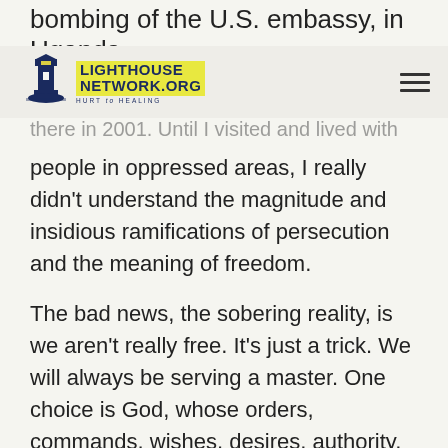bombing of the U.S. embassy, in Uganda
[Figure (logo): Lighthouse Network.org HURT to HEALING logo with lighthouse icon]
there in 2001. Until I visited and lived with people in oppressed areas, I really didn't understand the magnitude and insidious ramifications of persecution and the meaning of freedom.
The bad news, the sobering reality, is we aren't really free. It's just a trick. We will always be serving a master. One choice is God, whose orders, commands, wishes, desires, authority, agenda, policies, and